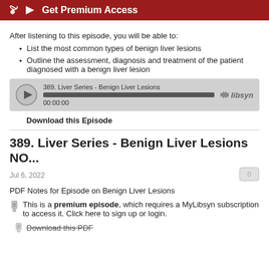Get Premium Access
After listening to this episode, you will be able to:
List the most common types of benign liver lesions
Outline the assessment, diagnosis and treatment of the patient diagnosed with a benign liver lesion
[Figure (other): Audio player widget showing episode '389. Liver Series - Benign Liver Lesions' at 00:00:00 with a full progress bar and Libsyn logo]
Download this Episode
389. Liver Series - Benign Liver Lesions NO...
Jul 6, 2022
PDF Notes for Episode on Benign Liver Lesions
This is a premium episode, which requires a MyLibsyn subscription to access it. Click here to sign up or login.
Download this PDF